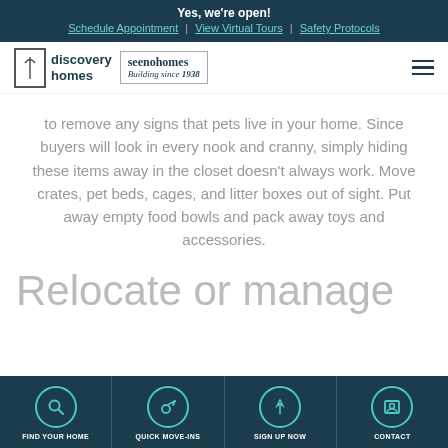Yes, we're open! Schedule Appointment | View Virtual Tours | Safety Protocols
[Figure (logo): Discovery Homes and Seeno Homes Building since 1938 logos with hamburger menu]
to remove any signs that pets live in your home. Since buyers will look in every nook and cranny, simply hiding these items away in the closet doesn't always work. Move crates, pet beds, cages, and litter boxes out of sight. Put away empty food bowls and pack away toys and accessories.
Relocate or manage
FIND YOUR HOME | QUICK MOVE-INS | SIGN UP NOW | CONTACT